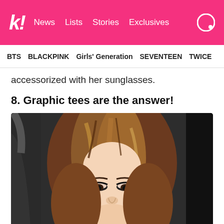k! News  Lists  Stories  Exclusives
BTS  BLACKPINK  Girls' Generation  SEVENTEEN  TWICE
accessorized with her sunglasses.
8. Graphic tees are the answer!
[Figure (photo): A young woman with long brown/auburn hair, light skin, and red lips, looking down, wearing a white top, photographed outdoors near a dark vehicle.]